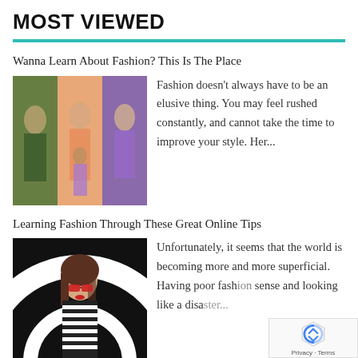MOST VIEWED
[Figure (photo): Fashion show models wearing colorful outfits]
Wanna Learn About Fashion? This Is The Place
Fashion doesn't always have to be an elusive thing. You may feel rushed constantly, and cannot take the time to improve your style. Her...
Learning Fashion Through These Great Online Tips
[Figure (photo): Young woman in black and white striped top with red sunglasses against black and white swirl background]
Unfortunately, it seems that the world is becoming more and more superficial. Having poor fashion sense and looking like a disa...